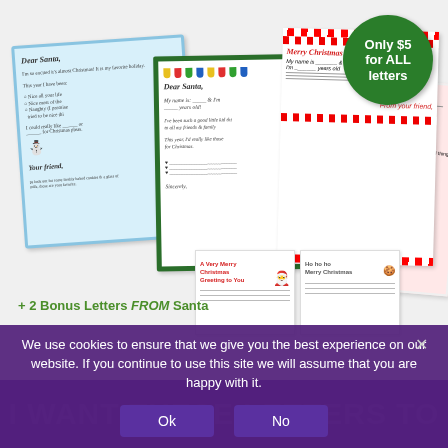[Figure (illustration): Collection of Christmas letter templates to Santa, showing 4 letter designs (blue snowflake border, green Christmas lights border, red-and-white striped border with Santa, red Naughty/Nice design), plus 2 small bonus letter cards from Santa.]
Only $5 for ALL letters
+ 2 Bonus Letters FROM Santa
We use cookies to ensure that we give you the best experience on our website. If you continue to use this site we will assume that you are happy with it.
Ok
No
I WANT THESE LETTERS TO